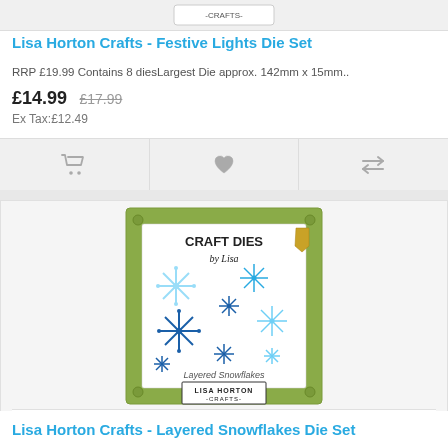[Figure (photo): Partial product image for Festive Lights Die Set at top of page]
Lisa Horton Crafts - Festive Lights Die Set
RRP £19.99 Contains 8 diesLargest Die approx. 142mm x 15mm..
£14.99  £17.99  Ex Tax:£12.49
[Figure (illustration): Shopping cart icon, heart/wishlist icon, and compare icon action buttons]
[Figure (photo): Product image for Lisa Horton Crafts Layered Snowflakes Die Set showing craft dies packaging with multiple snowflake dies]
Lisa Horton Crafts - Layered Snowflakes Die Set